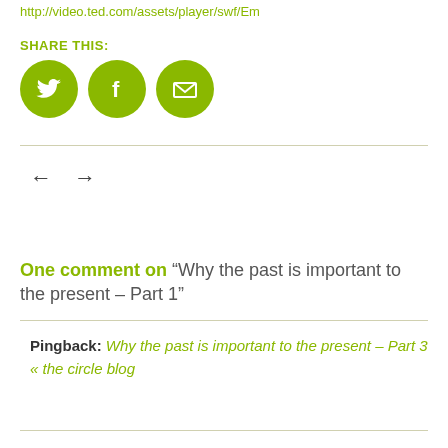http://video.ted.com/assets/player/swf/Em
SHARE THIS:
[Figure (illustration): Three green circular social share icons: Twitter bird, Facebook F, and email/envelope icon]
[Figure (illustration): Left arrow and right arrow navigation icons]
One comment on “Why the past is important to the present – Part 1”
Pingback: Why the past is important to the present – Part 3 « the circle blog